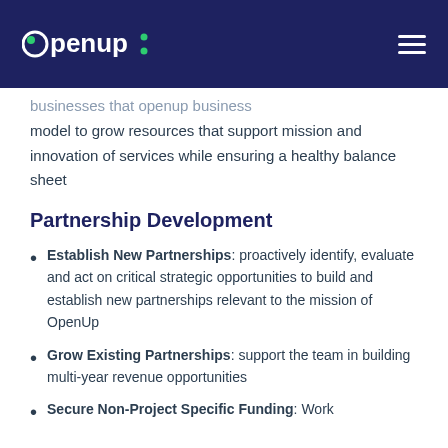openup:
...business model to grow resources that support mission and innovation of services while ensuring a healthy balance sheet
Partnership Development
Establish New Partnerships: proactively identify, evaluate and act on critical strategic opportunities to build and establish new partnerships relevant to the mission of OpenUp
Grow Existing Partnerships: support the team in building multi-year revenue opportunities
Secure Non-Project Specific Funding: Work